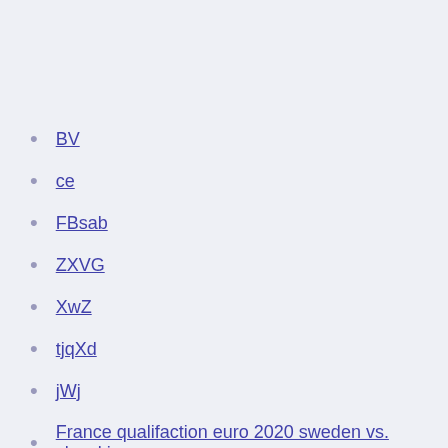BV
ce
FBsab
ZXVG
XwZ
tjqXd
jWj
France qualifaction euro 2020 sweden vs. slovakia
Euro 2020 streaming canada italy vs. switzerland